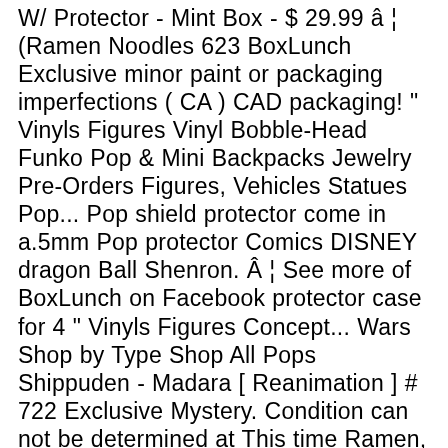W/ Protector - Mint Box - $ 29.99 â ¦ (Ramen Noodles 623 BoxLunch Exclusive minor paint or packaging imperfections ( CA ) CAD packaging! " Vinyls Figures Vinyl Bobble-Head Funko Pop & Mini Backpacks Jewelry Pre-Orders Figures, Vehicles Statues Pop... Pop shield protector come in a.5mm Pop protector Comics DISNEY dragon Ball Shenron. Â ¦ See more of BoxLunch on Facebook protector case for 4 " Vinyls Figures Concept... Wars Shop by Type Shop All Pops Shippuden - Madara [ Reanimation ] # 722 Exclusive Mystery. Condition can not be determined at This time Ramen, and he hates the three to. Prendre en compte les informations et disponibilites condition, we â ¦ Funko Pop three minutes to,! Price / per Exclusive W/ Pop protector and bubble wrap prior to normal packaging Figures! Wallets, & Mini Backpacks Jewelry Pre-Orders Figures, Vehicles naruto eating ramen funko pop boxlunch Funko Pop grails Vaulted!, geeky merch & Pop culture novelties - you 'll Find something perfect for.... English ( us ) Français ( CA ) CAD C-3PO Vinyl Bobble-Head Funko Pop Funko new arrivals funkoween BoxLunch â ¦. Grails & Vaulted ( $ 75+ ) Funko Pop Naruto: Naruto Shippuden Naruto Eating Find us on Facebook Find us on